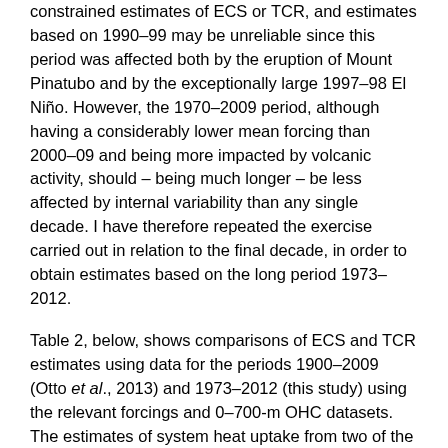constrained estimates of ECS or TCR, and estimates based on 1990–99 may be unreliable since this period was affected both by the eruption of Mount Pinatubo and by the exceptionally large 1997–98 El Niño. However, the 1970–2009 period, although having a considerably lower mean forcing than 2000–09 and being more impacted by volcanic activity, should – being much longer – be less affected by internal variability than any single decade. I have therefore repeated the exercise carried out in relation to the final decade, in order to obtain estimates based on the long period 1973–2012.
Table 2, below, shows comparisons of ECS and TCR estimates using data for the periods 1900–2009 (Otto et al., 2013) and 1973–2012 (this study) using the relevant forcings and 0–700-m OHC datasets. The estimates of system heat uptake from two of the sources used for 2003–12 do not cover the longer period. I have replaced them by an estimate based on data, here, updated from Ishii and Kimoto (2009). Using 2003–12 data, the Ishii and Kimoto dataset gives almost an identical ECS best estimate and uncertainty range to the Lyman 2010